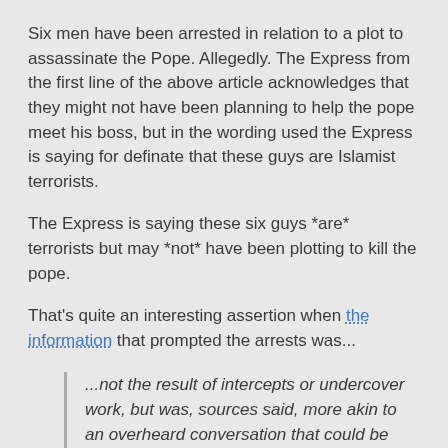Six men have been arrested in relation to a plot to assassinate the Pope. Allegedly. The Express from the first line of the above article acknowledges that they might not have been planning to help the pope meet his boss, but in the wording used the Express is saying for definate that these guys are Islamist terrorists.
The Express is saying these six guys *are* terrorists but may *not* have been plotting to kill the pope.
That's quite an interesting assertion when the information that prompted the arrests was...
...not the result of intercepts or undercover work, but was, sources said, more akin to an overheard conversation that could be interpreted as posing a threat.